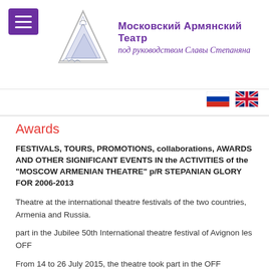[Figure (logo): Moscow Armenian Theatre logo: stylized mountain/envelope illustration with Russian text 'Московский Армянский Театр под руководством Славы Степаняна']
[Figure (illustration): Russian and UK flag icons for language selection]
Awards
FESTIVALS, TOURS, PROMOTIONS, collaborations, AWARDS AND OTHER SIGNIFICANT EVENTS IN the ACTIVITIES of the "MOSCOW ARMENIAN THEATRE" p/R STEPANIAN GLORY FOR 2006-2013
Theatre at the international theatre festivals of the two countries, Armenia and Russia.
part in the Jubilee 50th International theatre festival of Avignon les OFF
From 14 to 26 July 2015, the theatre took part in the OFF